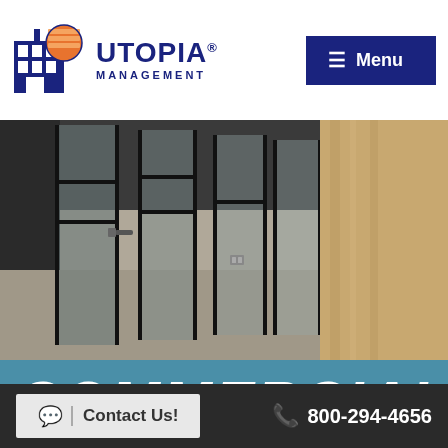[Figure (logo): Utopia Management logo with blue building icon and orange sun]
[Figure (photo): Commercial office space interior with black metal frame glass doors and concrete floor]
COMMERCIAL
Contact Us!
800-294-4656